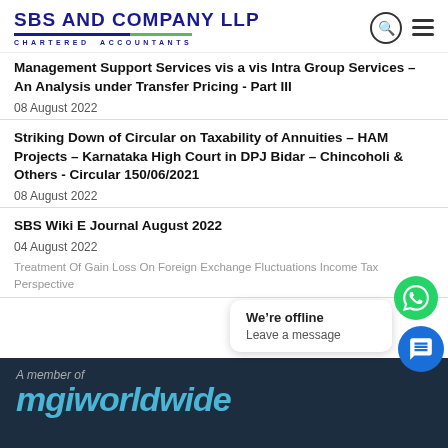SBS AND COMPANY LLP CHARTERED ACCOUNTANTS
Management Support Services vis a vis Intra Group Services – An Analysis under Transfer Pricing - Part III
08 August 2022
Striking Down of Circular on Taxability of Annuities – HAM Projects – Karnataka High Court in DPJ Bidar – Chincoholi & Others - Circular 150/06/2021
08 August 2022
SBS Wiki E Journal August 2022
04 August 2022
Treatment Of Gain Loss On Foreign Exchange Fluctuations Income Tax Perspective
A member of mgiworldwide